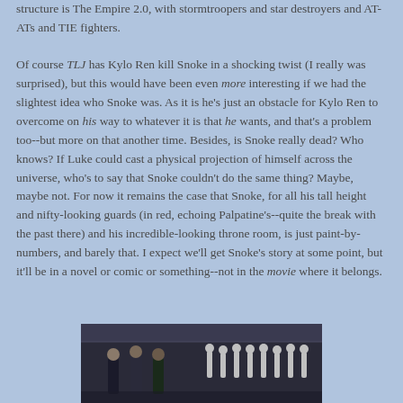structure is The Empire 2.0, with stormtroopers and star destroyers and AT-ATs and TIE fighters.
Of course TLJ has Kylo Ren kill Snoke in a shocking twist (I really was surprised), but this would have been even more interesting if we had the slightest idea who Snoke was. As it is he's just an obstacle for Kylo Ren to overcome on his way to whatever it is that he wants, and that's a problem too--but more on that another time. Besides, is Snoke really dead? Who knows? If Luke could cast a physical projection of himself across the universe, who's to say that Snoke couldn't do the same thing? Maybe, maybe not. For now it remains the case that Snoke, for all his tall height and nifty-looking guards (in red, echoing Palpatine's--quite the break with the past there) and his incredible-looking throne room, is just paint-by-numbers, and barely that. I expect we'll get Snoke's story at some point, but it'll be in a novel or comic or something--not in the movie where it belongs.
[Figure (photo): Movie still showing characters in a large hangar or military setting with stormtroopers in background]